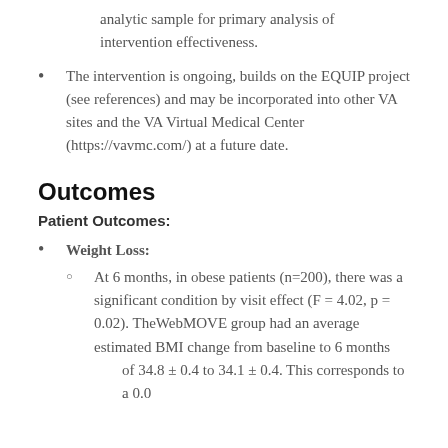analytic sample for primary analysis of intervention effectiveness.
The intervention is ongoing, builds on the EQUIP project (see references) and may be incorporated into other VA sites and the VA Virtual Medical Center (https://vavmc.com/) at a future date.
Outcomes
Patient Outcomes:
Weight Loss:
At 6 months, in obese patients (n=200), there was a significant condition by visit effect (F = 4.02, p = 0.02). TheWebMOVE group had an average estimated BMI change from baseline to 6 months of 34.8 ± 0.4 to 34.1 ± 0.4. This corresponds to a 0.0...